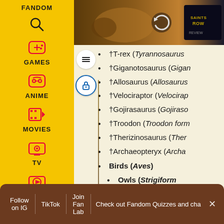[Figure (screenshot): Fandom website left navigation sidebar with yellow background, showing FANDOM logo (flame with heart), search icon, GAMES, ANIME, MOVIES, TV, VIDEO icons in pink/red, and user profile icon at bottom]
[Figure (photo): Advertisement banner at top showing video game action scene (appears to be Saints Row related) with characters and Saints Row logo on right side]
†T-rex (Tyrannosaurus
†Giganotosaurus (Gigan
†Allosaurus (Allosaurus
†Velociraptor (Velocirap
†Gojirasaurus (Gojiraso
†Troodon (Troodon form
†Therizinosaurus (Ther
†Archaeopteryx (Archa
Birds (Aves)
Owls (Strigiform
Barn-owls
Barn o
Austra
Check out Fandom Quizzes and cha
Follow on IG  TikTok  Join Fan Lab  Check out Fandom Quizzes and cha  ✕